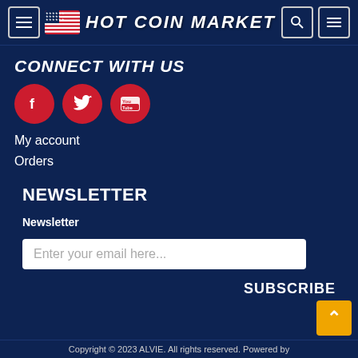HOT COIN MARKET
CONNECT WITH US
[Figure (other): Social media icons: Facebook, Twitter, YouTube (red circles with white icons)]
My account
Orders
NEWSLETTER
Newsletter
Enter your email here...
SUBSCRIBE
Copyright © 2023 ALVIE. All rights reserved. Powered by